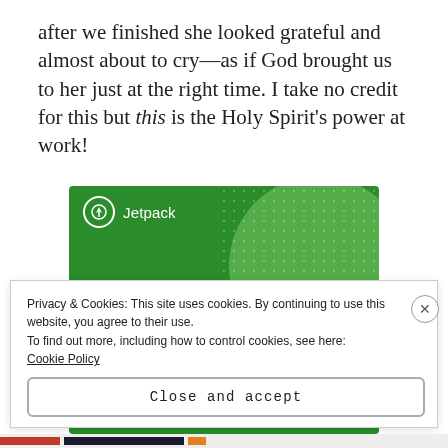after we finished she looked grateful and almost about to cry—as if God brought us to her just at the right time. I take no credit for this but this is the Holy Spirit's power at work!
[Figure (screenshot): Jetpack advertisement banner with green background showing 'The best real-time WordPress backup plugin']
Privacy & Cookies: This site uses cookies. By continuing to use this website, you agree to their use.
To find out more, including how to control cookies, see here: Cookie Policy
Close and accept